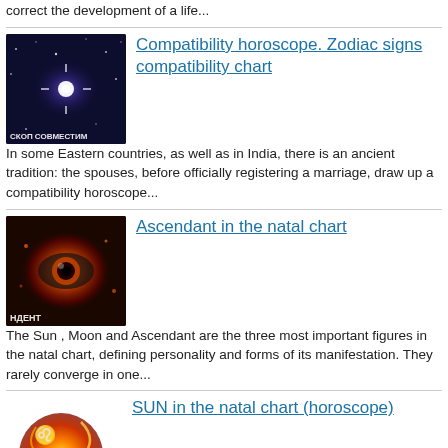correct the development of a life...
[Figure (photo): Thumbnail image with Russian text 'СКОП СОВМЕСТИМ' on a dark space/galaxy background]
Compatibility horoscope. Zodiac signs compatibility chart
In some Eastern countries, as well as in India, there is an ancient tradition: the spouses, before officially registering a marriage, draw up a compatibility horoscope...
[Figure (photo): Thumbnail image with Russian text 'НДЕНТ' on a fiery eye/orb background]
Ascendant in the natal chart
The Sun , Moon and Ascendant are the three most important figures in the natal chart, defining personality and forms of its manifestation. They rarely converge in one...
[Figure (photo): Thumbnail of an orange/red sun with decorative swirl patterns]
SUN in the natal chart (horoscope)
Element : Fire. Stones : ruby , topaz , chrysolite , aventurine , yellow beryls , heliodor and diamonds , carnelian , red zircon , amber . Metal : Gold, copper. Day :...